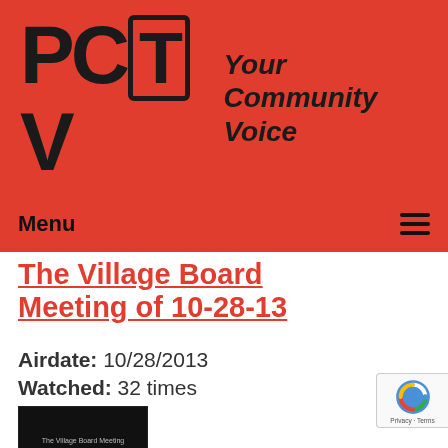[Figure (logo): PCTV logo with 'Your Community Voice' tagline on red background]
Menu ☰
The Village Board Meeting of 10-28-13
Airdate: 10/28/2013
Watched: 32 times
[Figure (screenshot): Video thumbnail showing 'The Village Board Meeting of October 14, 2013' text on black background]
The Village Board